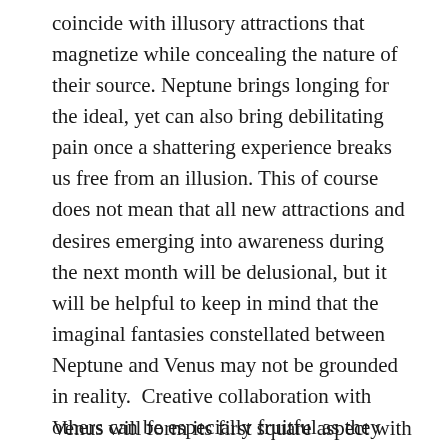coincide with illusory attractions that magnetize while concealing the nature of their source. Neptune brings longing for the ideal, yet can also bring debilitating pain once a shattering experience breaks us free from an illusion. This of course does not mean that all new attractions and desires emerging into awareness during the next month will be delusional, but it will be helpful to keep in mind that the imaginal fantasies constellated between Neptune and Venus may not be grounded in reality.  Creative collaboration with others can be especially fruitful as they can be enlivened to inspired heights through Venus and Neptune fantasizing together.
Venus will form its first square aspect with